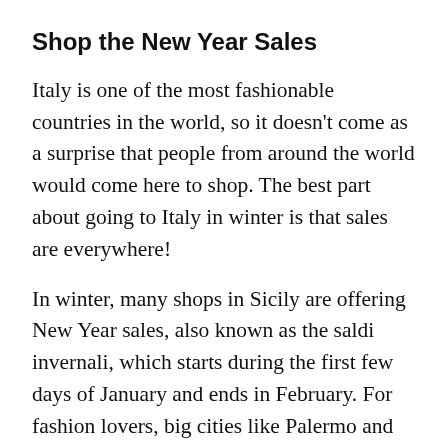Shop the New Year Sales
Italy is one of the most fashionable countries in the world, so it doesn’t come as a surprise that people from around the world would come here to shop. The best part about going to Italy in winter is that sales are everywhere!
In winter, many shops in Sicily are offering New Year sales, also known as the saldi invernali, which starts during the first few days of January and ends in February. For fashion lovers, big cities like Palermo and Catania offer the best choices for shopping, where you will find boutiques, clothing shops, and ateliers lined along the city’s most elegant streets.
Admire the Fruit in the Garden of the Kolymbetra